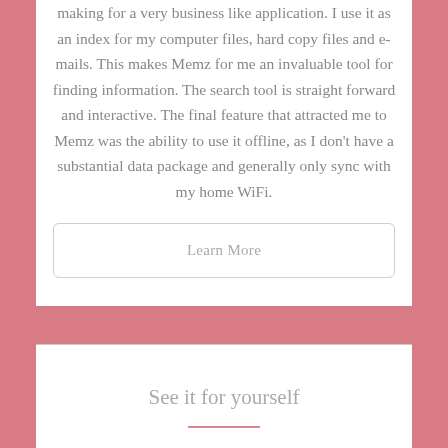making for a very business like application. I use it as an index for my computer files, hard copy files and e-mails. This makes Memz for me an invaluable tool for finding information. The search tool is straight forward and interactive. The final feature that attracted me to Memz was the ability to use it offline, as I don't have a substantial data package and generally only sync with my home WiFi.
Learn More
See it for yourself